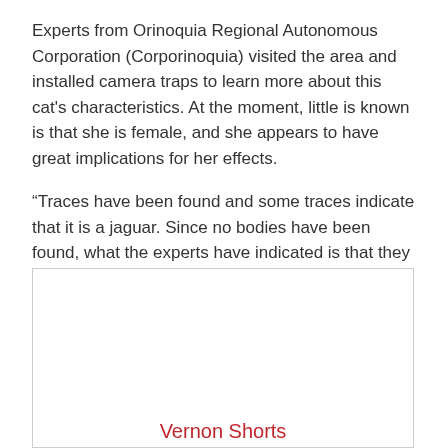Experts from Orinoquia Regional Autonomous Corporation (Corporinoquia) visited the area and installed camera traps to learn more about this cat's characteristics. At the moment, little is known is that she is female, and she appears to have great implications for her effects.
“Traces have been found and some traces indicate that it is a jaguar. Since no bodies have been found, what the experts have indicated is that they will feed their calf,” Corporinoccoia spokeswoman Tigria Cristanchau said.
[Figure (other): A white box with border and a red scroll-to-top button (chevron up arrow) in the bottom right corner, with 'Vernon Shorts' text in red at the bottom center.]